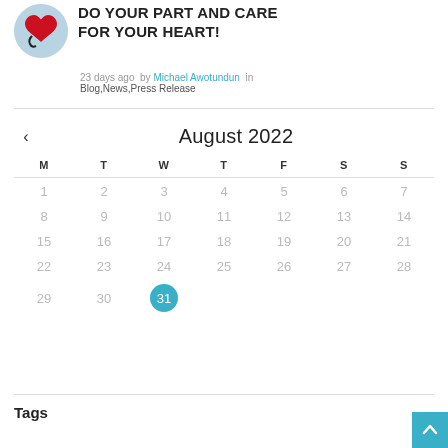[Figure (illustration): Circular image of a red heart with a stethoscope on a blue background]
DO YOUR PART AND CARE FOR YOUR HEART!
23 days ago by Michael Awotundun in Blog,News,Press Release
[Figure (other): August 2022 calendar with day 31 highlighted in blue circle]
Tags